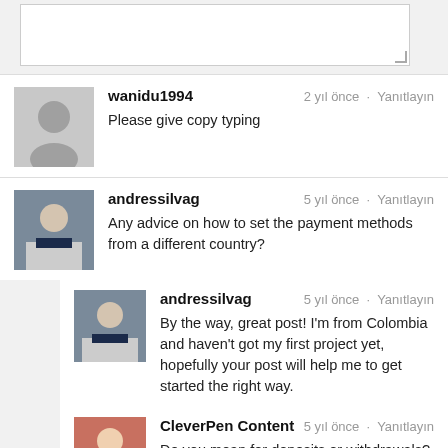[Figure (screenshot): Textarea input box with resize handle in bottom-right corner]
wanidu1994 — 2 yıl önce · Yanıtlayın
Please give copy typing
andressilvag — 5 yıl önce · Yanıtlayın
Any advice on how to set the payment methods from a different country?
andressilvag — 5 yıl önce · Yanıtlayın
By the way, great post! I'm from Colombia and haven't got my first project yet, hopefully your post will help me to get started the right way.
CleverPen Content — 5 yıl önce · Yanıtlayın
Do you mean for deposits or withdrawals? Thank you